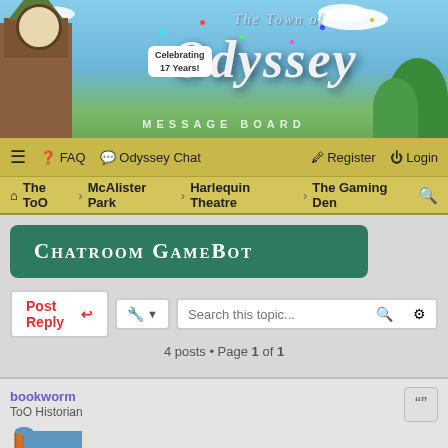[Figure (illustration): The Town of Odyssey Message Board banner with animated town scene, clock tower, characters, and colorful confetti. Text reads 'The Town of Odyssey MESSAGE BOARD' with 'Celebrating 17 Years!' badge.]
≡  FAQ  Odyssey Chat    Register  Login
The ToO  McAlister Park  Harlequin Theatre  The Gaming Den
Chatroom GameBot
Post Reply  [tools]  Search this topic...
4 posts • Page 1 of 1
bookworm
ToO Historian
[Figure (illustration): User avatar showing a book icon representing bookworm user]
Chatroom GameBot
Sun Mar 27, 2022 7:27 pm